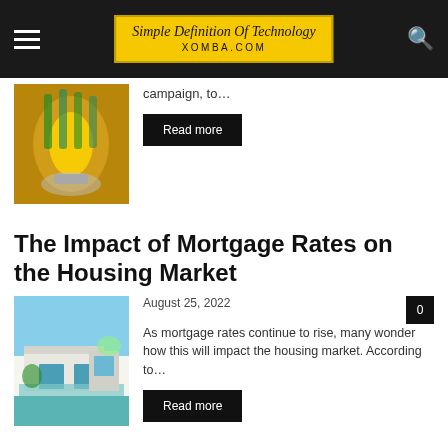Simple Definition Of Technology — XOMBA.COM
[Figure (photo): Golden decorative trophy or floral glass sculpture]
campaign, to...
Read more
The Impact of Mortgage Rates on the Housing Market
[Figure (photo): Modern house with pool and blue sky]
August 25, 2022
As mortgage rates continue to rise, many wonder how this will impact the housing market. According to...
Read more
5 Steps to Successful Smart Contract Development